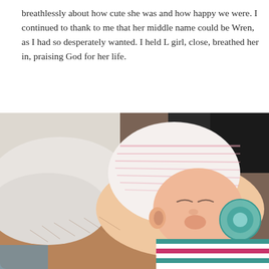breathlessly about how cute she was and how happy we were. I continued to thank to me that her middle name could be Wren, as I had so desperately wanted. I held L girl, close, breathed her in, praising God for her life.
[Figure (photo): A newborn baby wearing a white and pink striped hospital hat and a green pacifier, resting on an adult's arm. The baby is wrapped in a teal, pink, and white striped blanket. The background shows a white pillow and a dark-clothed adult torso.]